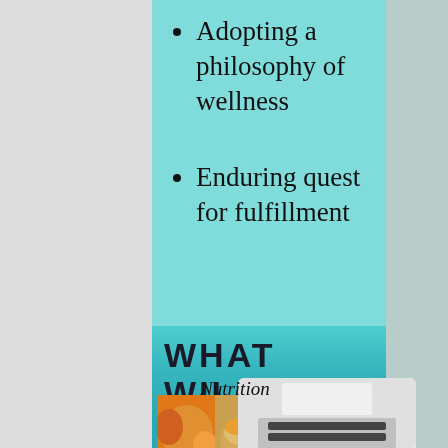Adopting a philosophy of wellness
Enduring quest for fulfillment
WHAT WILL YOU BE LEARNING?
[Figure (photo): Horizontal strip photo of healthy foods including fruits, berries, cereal/granola in bowls with blueberries and peaches]
Nutrition
[Figure (photo): Partial view of a white electronic device (scale or tablet) at bottom of page against teal water background]